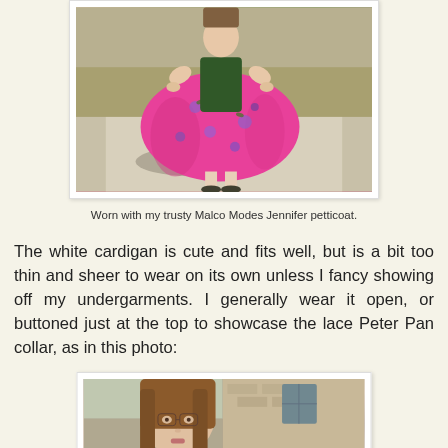[Figure (photo): Woman wearing a bright pink floral full-circle skirt with green top, standing on a sidewalk outdoors]
Worn with my trusty Malco Modes Jennifer petticoat.
The white cardigan is cute and fits well, but is a bit too thin and sheer to wear on its own unless I fancy showing off my undergarments. I generally wear it open, or buttoned just at the top to showcase the lace Peter Pan collar, as in this photo:
[Figure (photo): Close-up of a woman with long brown hair and glasses, wearing a white cardigan with lace Peter Pan collar, standing outdoors near a brick building]